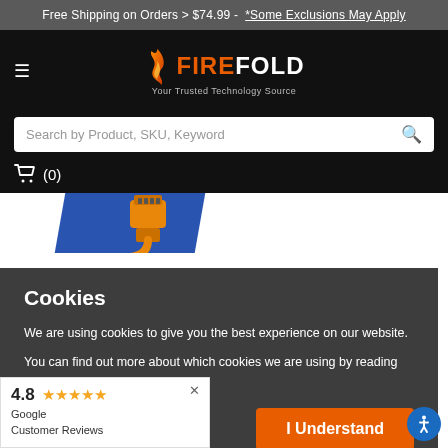Free Shipping on Orders > $74.99 - *Some Exclusions May Apply
[Figure (logo): FireFold logo with flame icon and tagline 'Your Trusted Technology Source']
Search by Product, SKU, Keyword
🛒 (0)
[Figure (photo): Partial product image showing orange Ethernet connector on blue background]
Cookies
We are using cookies to give you the best experience on our website.
You can find out more about which cookies we are using by reading our Privacy Policy
I Understand
4.8 ★★★★★ Google Customer Reviews